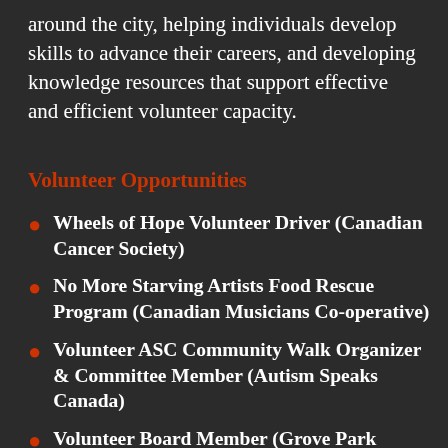around the city, helping individuals develop skills to advance their careers, and developing knowledge resources that support effective and efficient volunteer capacity.
Volunteer Opportunities
Wheels of Hope Volunteer Driver (Canadian Cancer Society)
No More Starving Artists Food Rescue Program (Canadian Musicians Co-operative)
Volunteer ASC Community Walk Organizer & Committee Member (Autism Speaks Canada)
Volunteer Board Member (Grove Park Home)